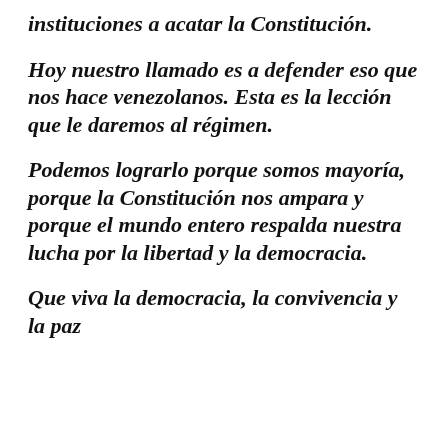instituciones a acatar la Constitución.
Hoy nuestro llamado es a defender eso que nos hace venezolanos. Esta es la lección que le daremos al régimen.
Podemos lograrlo porque somos mayoría, porque la Constitución nos ampara y porque el mundo entero respalda nuestra lucha por la libertad y la democracia.
Que viva la democracia, la convivencia y la paz